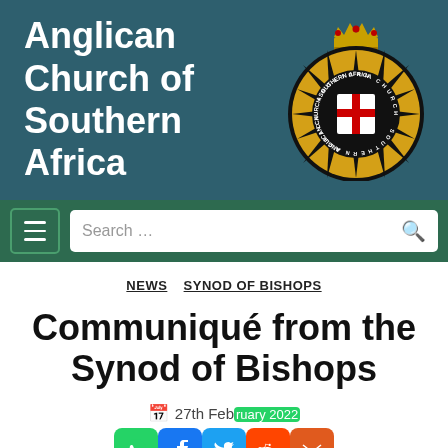Anglican Church of Southern Africa
[Figure (logo): Anglican Church of Southern Africa circular emblem: black and gold starburst with a red cross shield in the center, text around the rim, and a crown at the top]
Search ...
NEWS   SYNOD OF BISHOPS
Communiqué from the Synod of Bishops
27th February 2022